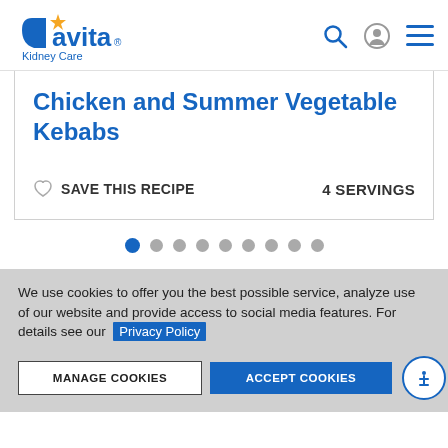[Figure (logo): DaVita Kidney Care logo with blue text and orange star]
Chicken and Summer Vegetable Kebabs
♡ SAVE THIS RECIPE    4 SERVINGS
[Figure (other): Carousel dots indicator, 9 dots, first one active (blue)]
We use cookies to offer you the best possible service, analyze use of our website and provide access to social media features. For details see our Privacy Policy
MANAGE COOKIES   ACCEPT COOKIES